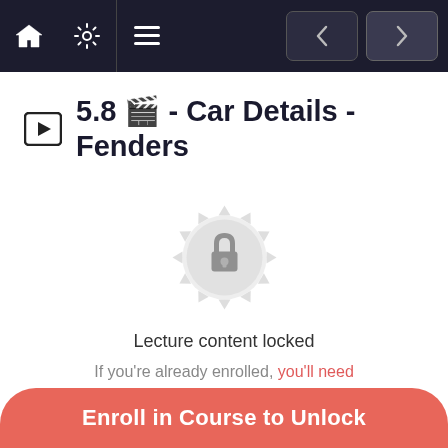Navigation bar with home, settings, menu icons and back/forward navigation buttons
5.8 🎬 - Car Details - Fenders
[Figure (illustration): Locked content badge: a decorative circular badge with a padlock icon in the center, rendered in light grey]
Lecture content locked
If you're already enrolled, you'll need to login.
Enroll in Course to Unlock